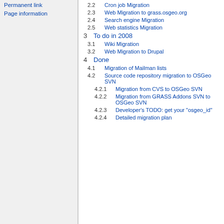Permanent link
Page information
2.2 Cron job Migration
2.3 Web Migration to grass.osgeo.org
2.4 Search engine Migration
2.5 Web statistics Migration
3 To do in 2008
3.1 Wiki Migration
3.2 Web Migration to Drupal
4 Done
4.1 Migration of Mailman lists
4.2 Source code repository migration to OSGeo SVN
4.2.1 Migration from CVS to OSGeo SVN
4.2.2 Migration from GRASS Addons SVN to OSGeo SVN
4.2.3 Developer's TODO: get your "osgeo_id"
4.2.4 Detailed migration plan